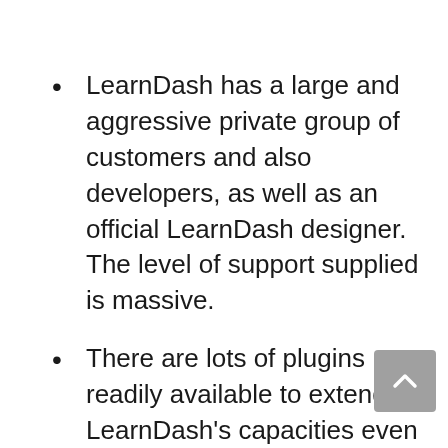LearnDash has a large and aggressive private group of customers and also developers, as well as an official LearnDash designer. The level of support supplied is massive.
There are lots of plugins readily available to extend LearnDash's capacities even better than what it can do out-of-the-box. All the plugin authors have actually checked their work with LearnDash so you know they will certainly play well together! You can locate all these plugins in the “Add Ons” section on